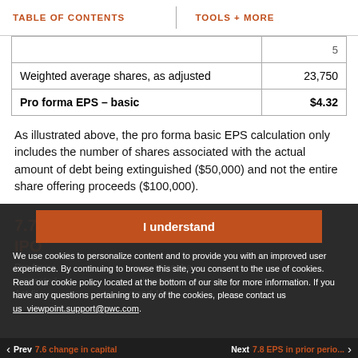TABLE OF CONTENTS   |   TOOLS + MORE
|  |  |
| --- | --- |
|  | 5 |
| Weighted average shares, as adjusted | 23,750 |
| Pro forma EPS – basic | $4.32 |
As illustrated above, the pro forma basic EPS calculation only includes the number of shares associated with the actual amount of debt being extinguished ($50,000) and not the entire share offering proceeds ($100,000).
7.7.4 ... to an IPO
Pro forma ... should not be presented ... change Act fi... and 10-
I understand
We use cookies to personalize content and to provide you with an improved user experience. By continuing to browse this site, you consent to the use of cookies. Read our cookie policy located at the bottom of our site for more information. If you have any questions pertaining to any of the cookies, please contact us us_viewpoint.support@pwc.com.
Prev  7.6 change in capital   Next  7.8 EPS in prior perio...